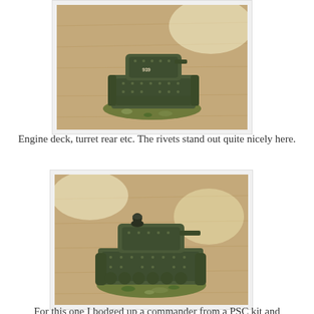[Figure (photo): A painted miniature WWII tank model (rear/engine deck view) on a wooden surface with a scenic base]
Engine deck, turret rear etc. The rivets stand out quite nicely here.
[Figure (photo): A painted miniature WWII tank model (side view with commander figure) on a wooden surface with a scenic base]
For this one I bodged up a commander from a PSC kit and